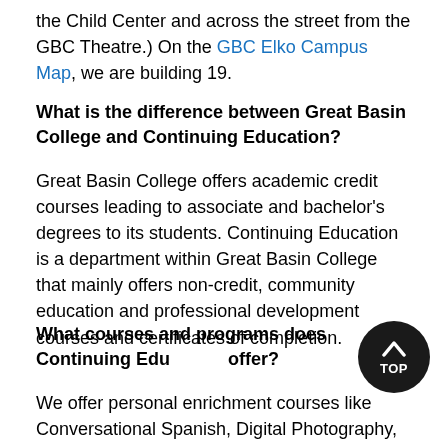the Child Center and across the street from the GBC Theatre.) On the GBC Elko Campus Map, we are building 19.
What is the difference between Great Basin College and Continuing Education?
Great Basin College offers academic credit courses leading to associate and bachelor's degrees to its students. Continuing Education is a department within Great Basin College that mainly offers non-credit, community education and professional development courses and certificates of completion.
What courses and programs does Continuing Education offer?
We offer personal enrichment courses like Conversational Spanish, Digital Photography, Ceramics, Tai Chi, Youth Karate, and more.